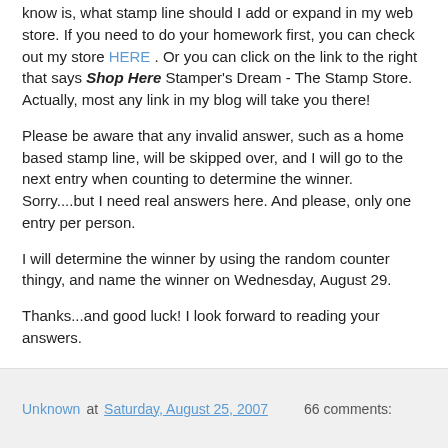Treats is leave a comment on this post. What I would like to know is, what stamp line should I add or expand in my web store. If you need to do your homework first, you can check out my store HERE . Or you can click on the link to the right that says Shop Here Stamper's Dream - The Stamp Store. Actually, most any link in my blog will take you there!
Please be aware that any invalid answer, such as a home based stamp line, will be skipped over, and I will go to the next entry when counting to determine the winner. Sorry....but I need real answers here. And please, only one entry per person.
I will determine the winner by using the random counter thingy, and name the winner on Wednesday, August 29.
Thanks...and good luck! I look forward to reading your answers.
Unknown at Saturday, August 25, 2007   66 comments: